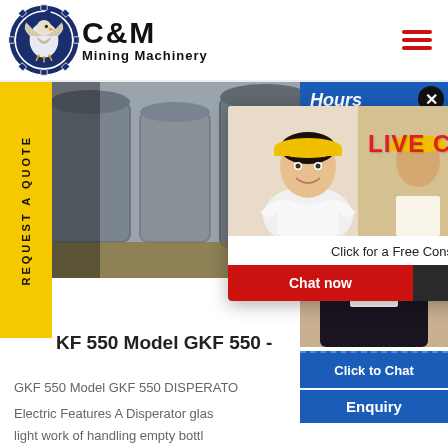[Figure (logo): C&M Mining Machinery logo with eagle in gear circle]
C&M Mining Machinery
[Figure (photo): Industrial mining machinery/mills in a factory setting]
[Figure (photo): Live chat popup with workers in hard hats - LIVE CHAT Click for a Free Consultation, Chat now / Chat later buttons]
[Figure (photo): Right panel: Hours online banner, female customer service agent with headset, Click to Chat, Enquiry]
REQUEST A QUOTE
KF 550 Model GKF 550 -
GKF 550 Model GKF 550 DISPERATO
Electric Features A Disperator glas
light work of handling empty bott